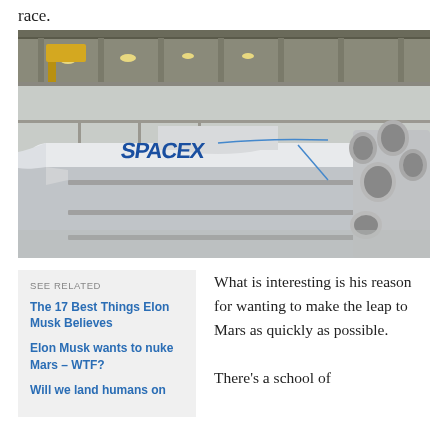race.
[Figure (photo): A SpaceX Falcon 9 rocket lying horizontally on a transport rail inside a large industrial hangar facility. The white rocket body with blue SpaceX logo lettering is visible, and the engine section with multiple Merlin engines is seen on the right side.]
SEE RELATED
The 17 Best Things Elon Musk Believes
Elon Musk wants to nuke Mars – WTF?
Will we land humans on
What is interesting is his reason for wanting to make the leap to Mars as quickly as possible. There's a school of